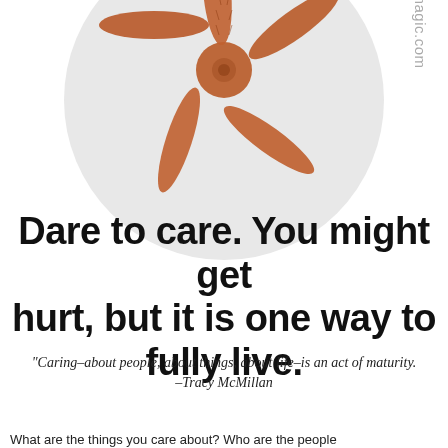[Figure (photo): A starfish photographed from above, centered on a light grey circular background. A watermark text 'smagic.com' is visible rotated vertically on the right side.]
Dare to care. You might get hurt, but it is one way to fully live.
"Caring–about people, about things, about life–is an act of maturity.
–Tracy McMillan
What are the things you care about? Who are the people